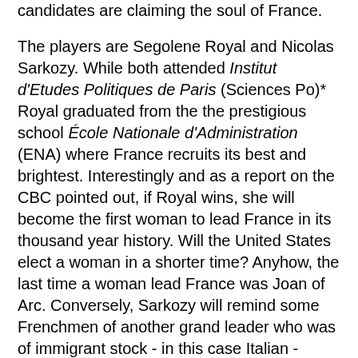candidates are claiming the soul of France.
The players are Segolene Royal and Nicolas Sarkozy. While both attended Institut d'Etudes Politiques de Paris (Sciences Po)* Royal graduated from the the prestigious school École Nationale d'Administration (ENA) where France recruits its best and brightest. Interestingly and as a report on the CBC pointed out, if Royal wins, she will become the first woman to lead France in its thousand year history. Will the United States elect a woman in a shorter time? Anyhow, the last time a woman lead France was Joan of Arc. Conversely, Sarkozy will remind some Frenchmen of another grand leader who was of immigrant stock - in this case Italian - Napoleon.
[Figure (logo): French Republic official logo showing the French tricolor flag with a female profile silhouette, with text 'Liberté • Égalité • Fraternité' and 'RÉPUBLIQUE FRANÇAISE']
In the recent televised political debate Royal used the unfortunate and usual hysterical language come to be expected of modern socialists. She deliberately interrupted him on a number of issues and often used accusatory language. Not a smart, sound strategy if you're out to gain the "center" vote. The